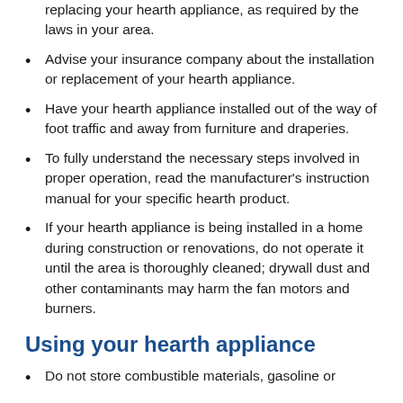replacing your hearth appliance, as required by the laws in your area.
Advise your insurance company about the installation or replacement of your hearth appliance.
Have your hearth appliance installed out of the way of foot traffic and away from furniture and draperies.
To fully understand the necessary steps involved in proper operation, read the manufacturer's instruction manual for your specific hearth product.
If your hearth appliance is being installed in a home during construction or renovations, do not operate it until the area is thoroughly cleaned; drywall dust and other contaminants may harm the fan motors and burners.
Using your hearth appliance
Do not store combustible materials, gasoline or